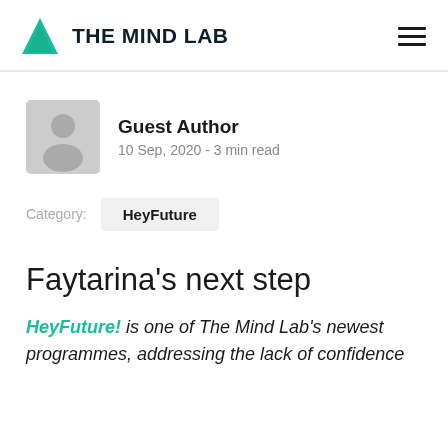[Figure (logo): The Mind Lab logo: teal triangle icon with bold dark text 'THE MIND LAB']
Guest Author
10 Sep, 2020 - 3 min read
Category:   HeyFuture
Faytarina's next step
HeyFuture! is one of The Mind Lab's newest programmes, addressing the lack of confidence